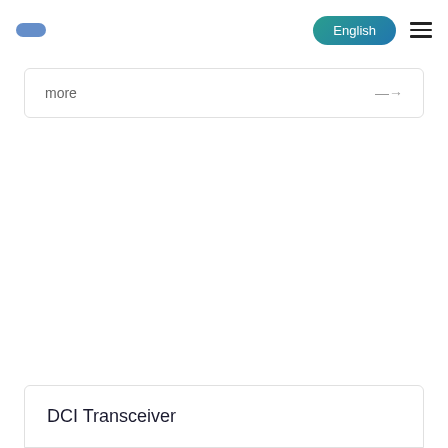English
more →
DCI Transceiver